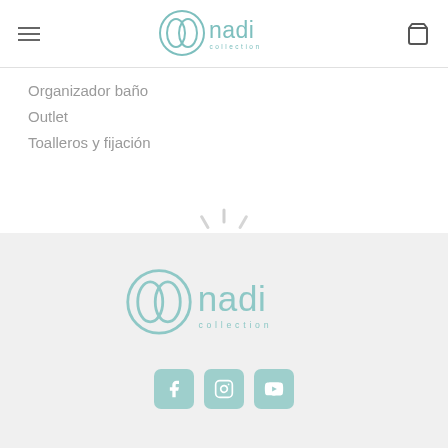nadi collection — header with hamburger menu and cart icon
Organizador baño
Outlet
Toalleros y fijación
[Figure (other): Loading spinner / radial animation graphic in light gray]
[Figure (logo): Nadi collection logo — circular overlapping loops icon with 'nadi' in teal and 'collection' in small spaced letters]
[Figure (other): Three social media icon buttons (Facebook, Instagram, YouTube) in teal rounded squares]